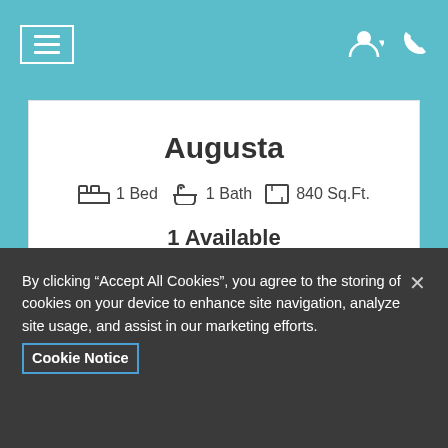Navigation header with menu icon and user/phone icons
Augusta
1 Bed  1 Bath  840 Sq.Ft.
1 Available
By clicking “Accept All Cookies”, you agree to the storing of cookies on your device to enhance site navigation, analyze site usage, and assist in our marketing efforts.
Cookie Notice